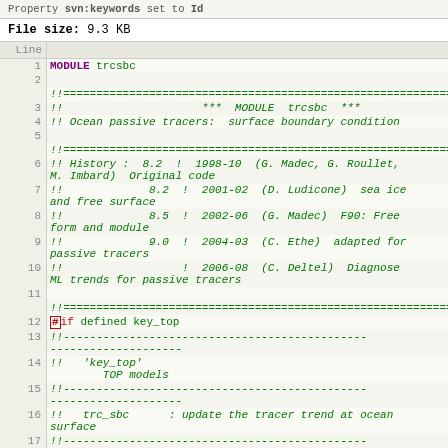Property svn:keywords set to Id
File size: 9.3 KB
| Line |  |
| --- | --- |
| 1 | MODULE trcsbc |
| 2 |  |
|  | !!================================================================= |
| 3 | !!                     ***  MODULE  trcsbc  *** |
| 4 | !! Ocean passive tracers:  surface boundary condition |
| 5 |  |
|  | !!================================================================= |
| 6 | !! History :  8.2  !  1998-10  (G. Madec, G. Roullet, M. Imbard)  Original code |
| 7 | !!             8.2  !  2001-02  (D. Ludicone)  sea ice and free surface |
| 8 | !!             8.5  !  2002-06  (G. Madec)  F90: Free form and module |
| 9 | !!             9.0  !  2004-03  (C. Ethe)  adapted for passive tracers |
| 10 | !!                  !  2006-08  (C. Deltel)  Diagnose ML trends for passive tracers |
| 11 |  |
|  | !!================================================================= |
| 12 | #if defined key_top |
| 13 | !!-------------------------------------------------------------- |
| 14 | !!   'key_top'        TOP models |
| 15 | !!-------------------------------------------------------------- |
| 16 | !!   trc_sbc      : update the tracer trend at ocean surface |
| 17 | !!-------------------------------------------------------------- |
| 18 |    USE oce_trc       ! ocean dynamics and active |